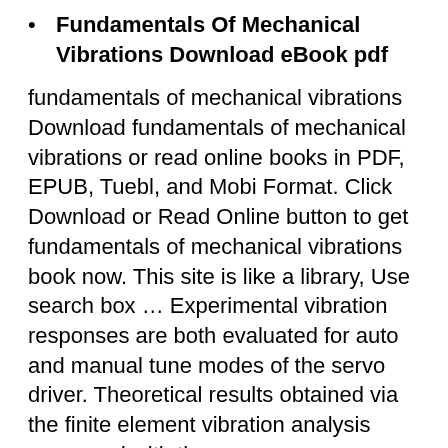Fundamentals Of Mechanical Vibrations Download eBook pdf
fundamentals of mechanical vibrations Download fundamentals of mechanical vibrations or read online books in PDF, EPUB, Tuebl, and Mobi Format. Click Download or Read Online button to get fundamentals of mechanical vibrations book now. This site is like a library, Use search box … Experimental vibration responses are both evaluated for auto and manual tune modes of the servo driver. Theoretical results obtained via the finite element vibration analysis compared with the
There are 2 appendices: Matrices